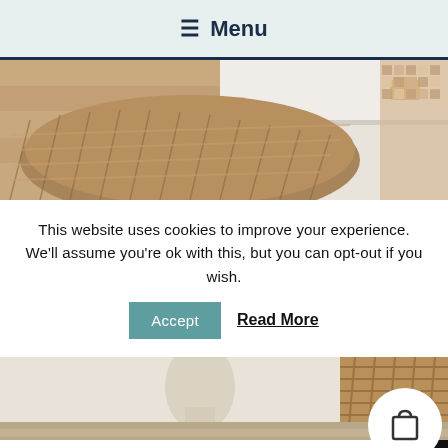≡ Menu
[Figure (photo): Close-up of wicker basket next to white furniture drawer with brass handle and mosaic tile, on wooden floor]
This website uses cookies to improve your experience. We'll assume you're ok with this, but you can opt-out if you wish.
Accept   Read More
[Figure (photo): Close-up of painted dresser/chest of drawers with geometric leaf pattern, with wicker basket and white vase in background]
The long weekend is here Kate Spade Outlet